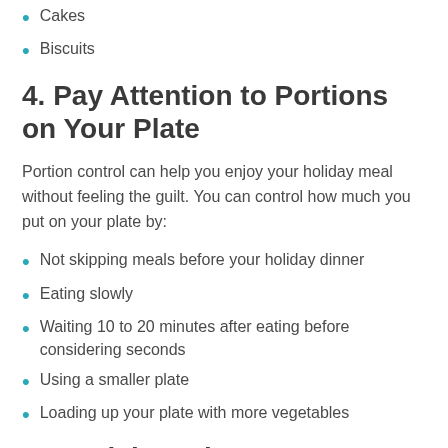Cakes
Biscuits
4. Pay Attention to Portions on Your Plate
Portion control can help you enjoy your holiday meal without feeling the guilt. You can control how much you put on your plate by:
Not skipping meals before your holiday dinner
Eating slowly
Waiting 10 to 20 minutes after eating before considering seconds
Using a smaller plate
Loading up your plate with more vegetables
5. Participate in Stress Relieving